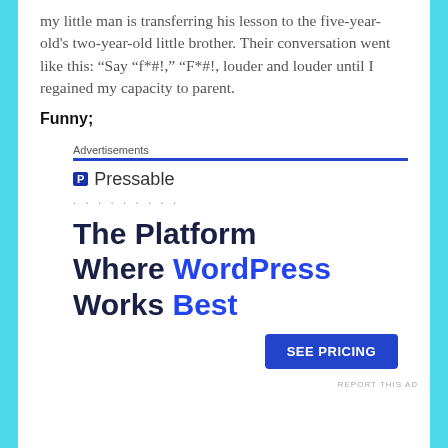my little man is transferring his lesson to the five-year-old's two-year-old little brother. Their conversation went like this: “Say “f*#!,” “F*#!, louder and louder until I regained my capacity to parent.
Funny;
[Figure (infographic): Pressable advertisement: logo with 'P' icon and 'Pressable' text, decorative dots, headline 'The Platform Where WordPress Works Best', blue SEE PRICING button, REPORT THIS AD label]
REPORT THIS AD